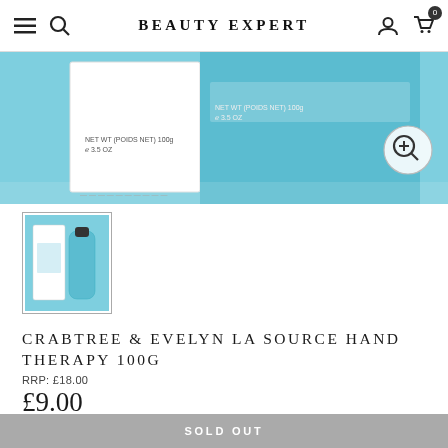BEAUTY EXPERT
[Figure (photo): Crabtree & Evelyn La Source hand therapy product box and tube on light blue background, showing NET WT (POIDS NET) 100g 3.5 OZ label]
[Figure (photo): Thumbnail image of Crabtree & Evelyn La Source hand therapy product, showing white box and teal tube side by side on blue background]
CRABTREE & EVELYN LA SOURCE HAND THERAPY 100G
RRP: £18.00
£9.00
Save: £9.00
SOLD OUT